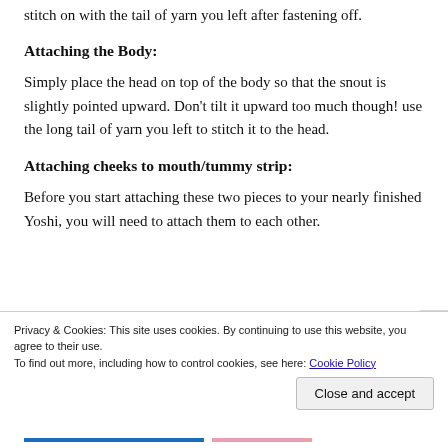This is really simple. Just place one arm on each side and stitch on with the tail of yarn you left after fastening off.
Attaching the Body:
Simply place the head on top of the body so that the snout is slightly pointed upward. Don't tilt it upward too much though! use the long tail of yarn you left to stitch it to the head.
Attaching cheeks to mouth/tummy strip:
Before you start attaching these two pieces to your nearly finished Yoshi, you will need to attach them to each other.
Privacy & Cookies: This site uses cookies. By continuing to use this website, you agree to their use.
To find out more, including how to control cookies, see here: Cookie Policy